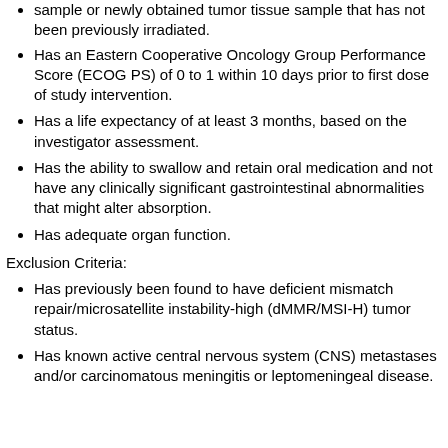sample or newly obtained tumor tissue sample that has not been previously irradiated.
Has an Eastern Cooperative Oncology Group Performance Score (ECOG PS) of 0 to 1 within 10 days prior to first dose of study intervention.
Has a life expectancy of at least 3 months, based on the investigator assessment.
Has the ability to swallow and retain oral medication and not have any clinically significant gastrointestinal abnormalities that might alter absorption.
Has adequate organ function.
Exclusion Criteria:
Has previously been found to have deficient mismatch repair/microsatellite instability-high (dMMR/MSI-H) tumor status.
Has known active central nervous system (CNS) metastases and/or carcinomatous meningitis or leptomeningeal disease.